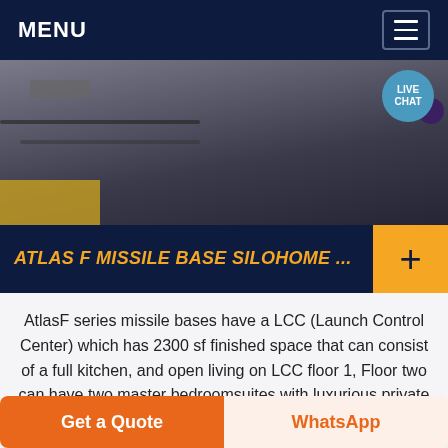MENU
[Figure (photo): Interior photo of missile base equipment room with cables, machinery, and industrial equipment on a concrete floor]
ATLAS F MISSILE BASE SILOHOME ...
AtlasF series missile bases have a LCC (Launch Control Center) which has 2300 sf finished space that can consist of a full kitchen, and open living on LCC floor 1, Floor two can have two master bedroomsuites with luxurious private full baths or any of several other combinations. The Silotube is 52' diameter and
Get a Quote | WhatsApp